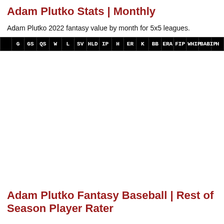Adam Plutko Stats | Monthly
Adam Plutko 2022 fantasy value by month for 5x5 leagues.
|  | G | GS | QS | W | L | SV | HLD | IP | H | ER | K | BB | ERA | FIP | WHIP | BABIP | H... |
| --- | --- | --- | --- | --- | --- | --- | --- | --- | --- | --- | --- | --- | --- | --- | --- | --- | --- |
Adam Plutko Fantasy Baseball | Rest of Season Player Rater